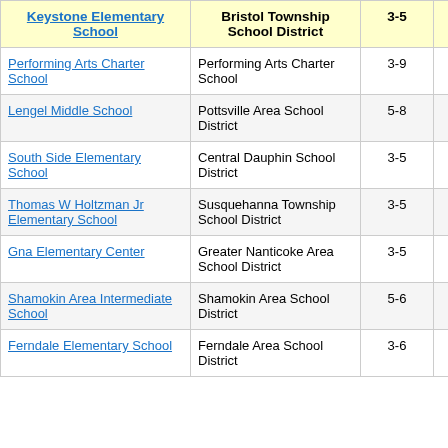| School | District | Grades | Value |
| --- | --- | --- | --- |
| Keystone Elementary School | Bristol Township School District | 3-5 | -2. |
| Performing Arts Charter School | Performing Arts Charter School | 3-9 | 4. |
| Lengel Middle School | Pottsville Area School District | 5-8 | -1. |
| South Side Elementary School | Central Dauphin School District | 3-5 | 3. |
| Thomas W Holtzman Jr Elementary School | Susquehanna Township School District | 3-5 | -1. |
| Gna Elementary Center | Greater Nanticoke Area School District | 3-5 | -1. |
| Shamokin Area Intermediate School | Shamokin Area School District | 5-6 | 0. |
| Ferndale Elementary School | Ferndale Area School District | 3-6 | 0. |